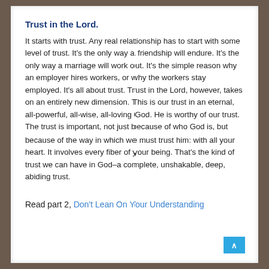Trust in the Lord.
It starts with trust. Any real relationship has to start with some level of trust. It's the only way a friendship will endure. It's the only way a marriage will work out. It's the simple reason why an employer hires workers, or why the workers stay employed. It's all about trust. Trust in the Lord, however, takes on an entirely new dimension. This is our trust in an eternal, all-powerful, all-wise, all-loving God. He is worthy of our trust. The trust is important, not just because of who God is, but because of the way in which we must trust him: with all your heart. It involves every fiber of your being. That's the kind of trust we can have in God–a complete, unshakable, deep, abiding trust.
Read part 2, Don't Lean On Your Understanding